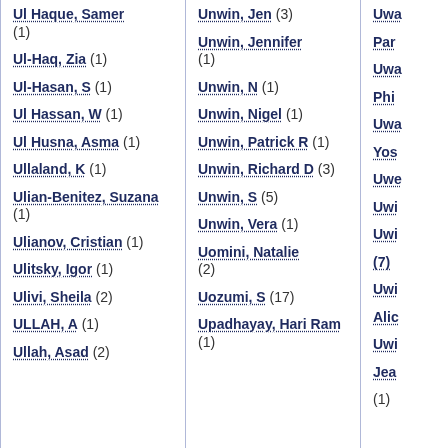Ul Haque, Samer (1)
Ul-Haq, Zia (1)
Ul-Hasan, S (1)
Ul Hassan, W (1)
Ul Husna, Asma (1)
Ullaland, K (1)
Ulian-Benitez, Suzana (1)
Ulianov, Cristian (1)
Ulitsky, Igor (1)
Ulivi, Sheila (2)
ULLAH, A (1)
Ullah, Asad (2)
Unwin, Jen (3)
Unwin, Jennifer (1)
Unwin, N (1)
Unwin, Nigel (1)
Unwin, Patrick R (1)
Unwin, Richard D (3)
Unwin, S (5)
Unwin, Vera (1)
Uomini, Natalie (2)
Uozumi, S (17)
Upadhayay, Hari Ram (1)
Uwa... Par...
Uwa... Phi...
Uwa... Yos...
Uwe...
Uwi...
Uwi...
Uwi... (7)
Uwi... Alic...
Uwi... Jea... (1)